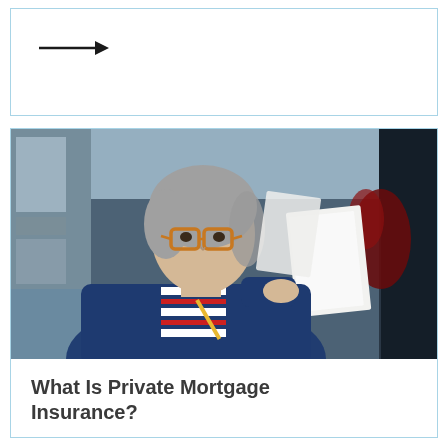[Figure (other): Top box with a right-pointing arrow icon]
[Figure (photo): Middle-aged woman with grey hair and orange-rimmed glasses wearing a navy blue blazer over a red-striped white shirt, reviewing documents outdoors]
What Is Private Mortgage Insurance?